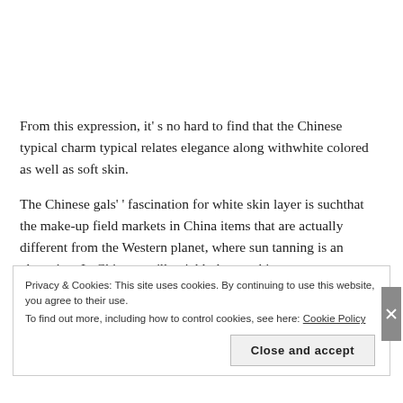From this expression, it' s no hard to find that the Chinese typical charm typical relates elegance along withwhite colored as well as soft skin.

The Chinese gals' ' fascination for white skin layer is suchthat the make-up field markets in China items that are actually different from the Western planet, where sun tanning is an obsession. In China, you'll quickly locate skin a cream or withwhitener representatives in it and also lots of elegance products that whiten your skin layer. In fact,
Privacy & Cookies: This site uses cookies. By continuing to use this website, you agree to their use.
To find out more, including how to control cookies, see here: Cookie Policy
Close and accept